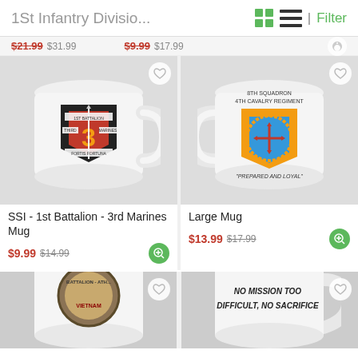1St Infantry Divisio...
[Figure (screenshot): Partial price bar showing crossed-out prices]
[Figure (photo): White mug with SSI 1st Battalion 3rd Marines insignia featuring a black shield with red background, number 3 and dagger design with banner text]
SSI - 1st Battalion - 3rd Marines Mug
$9.99 $14.99
[Figure (photo): White large mug with 8th Squadron 4th Cavalry Regiment shield insignia featuring yellow and blue design with 'Prepared and Loyal' text]
Large Mug
$13.99 $17.99
[Figure (photo): Bottom partial mug showing Battalion Vietnam insignia]
[Figure (photo): Bottom partial mug with text 'No Mission Too Difficult, No Sacrifice']